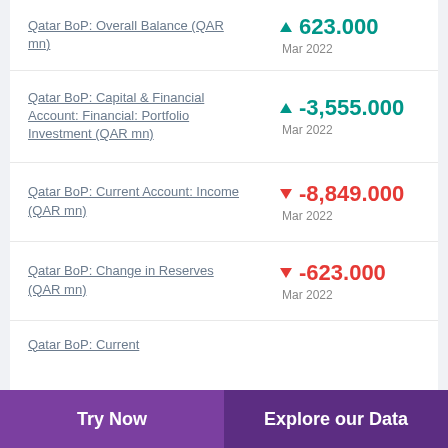Qatar BoP: Overall Balance (QAR mn) ▲ 623.000 Mar 2022
Qatar BoP: Capital & Financial Account: Financial: Portfolio Investment (QAR mn) ▲ -3,555.000 Mar 2022
Qatar BoP: Current Account: Income (QAR mn) ▼ -8,849.000 Mar 2022
Qatar BoP: Change in Reserves (QAR mn) ▼ -623.000 Mar 2022
Qatar BoP: Current
Try Now   Explore our Data